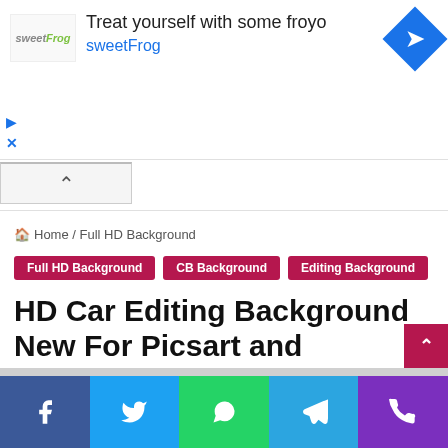[Figure (screenshot): sweetFrog advertisement banner with logo, text 'Treat yourself with some froyo sweetFrog', and a blue diamond navigation icon]
Home / Full HD Background
Full HD Background
CB Background
Editing Background
HD Car Editing Background New For Picsart and Photoshop Latest
HD Car Editing Background New
[Figure (screenshot): Social media sharing footer bar with Facebook, Twitter, WhatsApp, Telegram, and phone/call buttons]